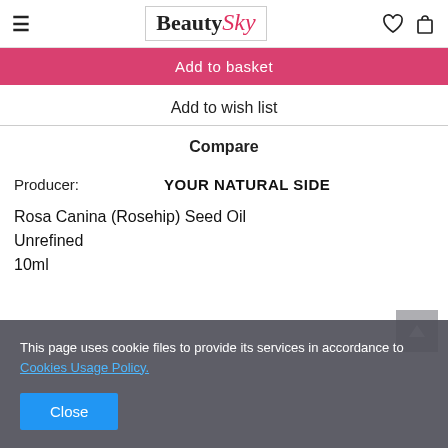BeautySky
Add to basket
Add to wish list
Compare
Producer: YOUR NATURAL SIDE
Rosa Canina (Rosehip) Seed Oil Unrefined 10ml
This page uses cookie files to provide its services in accordance to Cookies Usage Policy.
Close